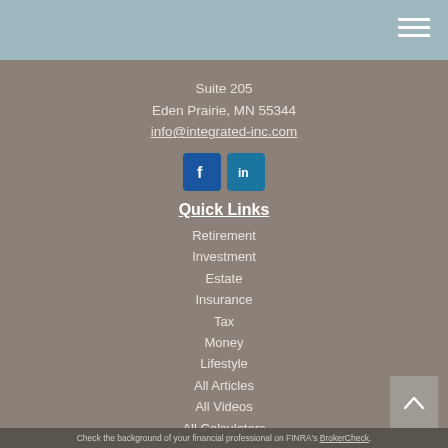Suite 205
Eden Prairie, MN 55344
info@integrated-inc.com
[Figure (other): Facebook and LinkedIn social media icon buttons]
Quick Links
Retirement
Investment
Estate
Insurance
Tax
Money
Lifestyle
All Articles
All Videos
All Calculators
All Presentations
Check the background of your financial professional on FINRA's BrokerCheck.